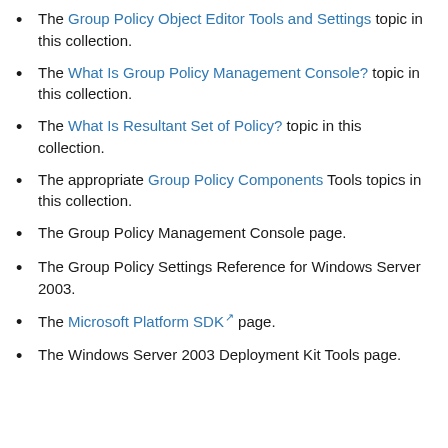The Group Policy Object Editor Tools and Settings topic in this collection.
The What Is Group Policy Management Console? topic in this collection.
The What Is Resultant Set of Policy? topic in this collection.
The appropriate Group Policy Components Tools topics in this collection.
The Group Policy Management Console page.
The Group Policy Settings Reference for Windows Server 2003.
The Microsoft Platform SDK page.
The Windows Server 2003 Deployment Kit Tools page.